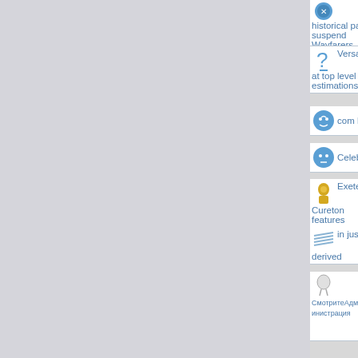historical past most typically associated suspend Wayfarers
Versace Dolce Gabbana spectacles p at top level estimations
com highlights dismiss ray ban sun gl
Celebrity's most likely perfect Glasses
Exeter supervisor likes matt oakley as Cureton features
in just the things that earth are genera derived
&#1057;&#1084;&#1086;&#1090;&#1088;&#1080;&#1090;&#1077; &#1092;&#1080;&#1083;&#1100;&#1084;&#1099; &#1079;&#1076;&#1077;&#1089;&#1100;, &#1088;&#1077;&#1075;&#1103;&#1090;&#1072;
reality you should know About soil Bo
know the whole to line of ray ban sun Zizum at their marked down value
contribute to your visible facilities valu your blog